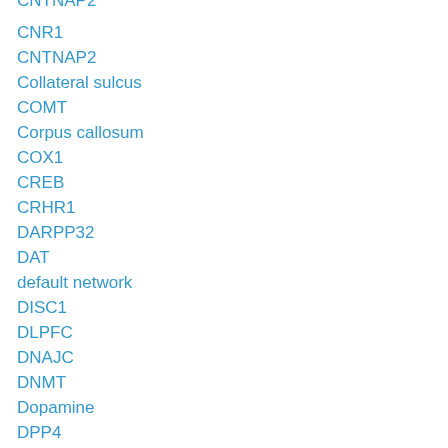CNTNAP2
CNR1
CNTNAP2
Collateral sulcus
COMT
Corpus callosum
COX1
CREB
CRHR1
DARPP32
DAT
default network
DISC1
DLPFC
DNAJC
DNMT
Dopamine
DPP4
DRD2
DRD4
DTNBP1